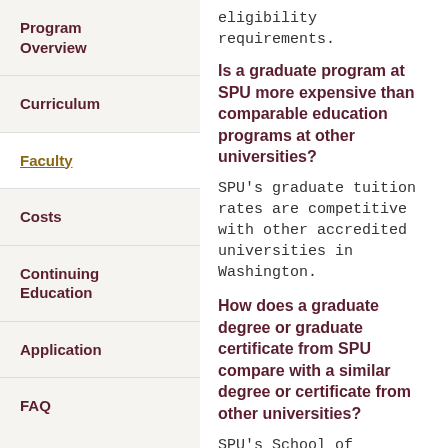eligibility requirements.
Program Overview
Curriculum
Faculty
Costs
Continuing Education
Application
FAQ
Is a graduate program at SPU more expensive than comparable education programs at other universities?
SPU's graduate tuition rates are competitive with other accredited universities in Washington.
How does a graduate degree or graduate certificate from SPU compare with a similar degree or certificate from other universities?
SPU's School of Education has been offering a wide range of fully accredited master's and doctoral degrees in addition to graduate